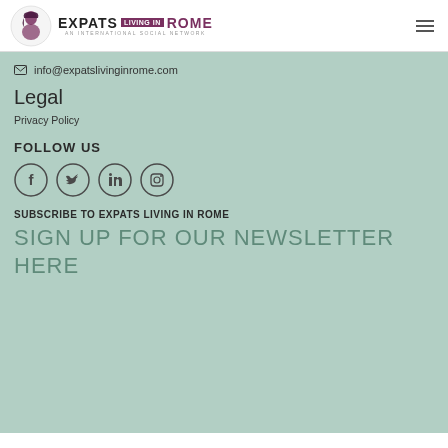Expats Living in Rome — AN INTERNATIONAL SOCIAL NETWORK
info@expatslivinginrome.com
Legal
Privacy Policy
FOLLOW US
[Figure (illustration): Four social media icon circles: Facebook, Twitter, LinkedIn, Instagram]
SUBSCRIBE TO EXPATS LIVING IN ROME
SIGN UP FOR OUR NEWSLETTER HERE